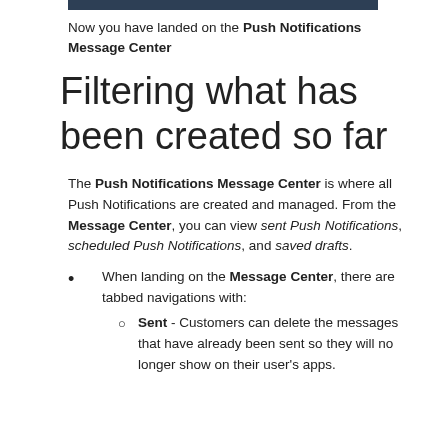Now you have landed on the Push Notifications Message Center
Filtering what has been created so far
The Push Notifications Message Center is where all Push Notifications are created and managed. From the Message Center, you can view sent Push Notifications, scheduled Push Notifications, and saved drafts.
When landing on the Message Center, there are tabbed navigations with:
Sent - Customers can delete the messages that have already been sent so they will no longer show on their user's apps.